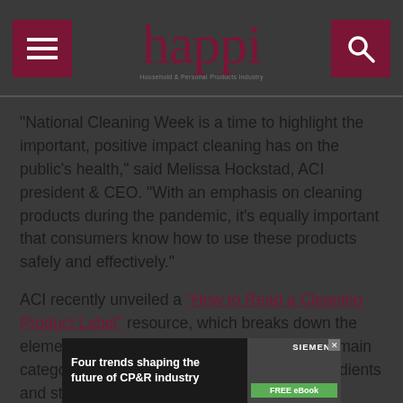happi — Household & Personal Products Industry
"National Cleaning Week is a time to highlight the important, positive impact cleaning has on the public's health," said Melissa Hockstad, ACI president & CEO. "With an emphasis on cleaning products during the pandemic, it's equally important that consumers know how to use these products safely and effectively."
ACI recently unveiled a "How to Read a Cleaning Product Label" resource, which breaks down the elements of a cleaning product label into four main categories: directions, caution warnings, ingredients and storage and disposal instructions.
[Figure (screenshot): Advertisement banner: Four trends shaping the future of CP&R industry — Siemens FREE eBook]